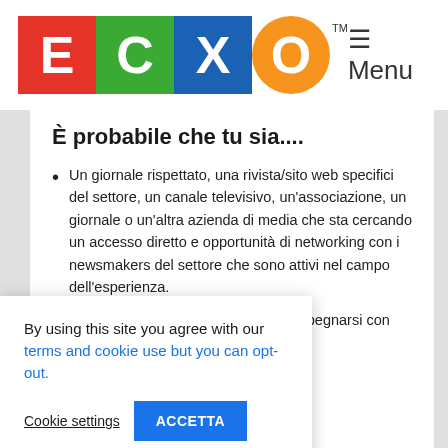[Figure (logo): ECXO logo with colored tiles: E (red), C (green), X (blue), O (orange circle), with TM superscript]
È probabile che tu sia....
Un giornale rispettato, una rivista/sito web specifici del settore, un canale televisivo, un'associazione, un giornale o un'altra azienda di media che sta cercando un accesso diretto e opportunità di networking con i newsmakers del settore che sono attivi nel campo dell'esperienza.
Attivo in Europa con il desiderio di impegnarsi con [ne attivi] [del tuo] [a comunità] internazionale.
By using this site you agree with our terms and cookie use but you can opt-out.
Cookie settings   ACCETTA